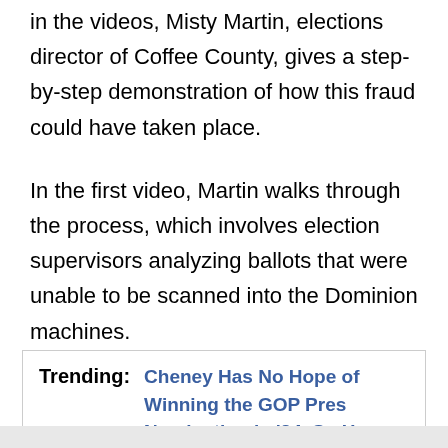in the videos, Misty Martin, elections director of Coffee County, gives a step-by-step demonstration of how this fraud could have taken place.
In the first video, Martin walks through the process, which involves election supervisors analyzing ballots that were unable to be scanned into the Dominion machines.
Trending: Cheney Has No Hope of Winning the GOP Pres Nomination in '24, So How Does She Want to Hurt Trump?